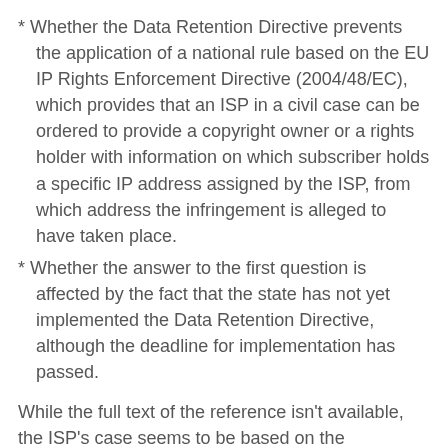* Whether the Data Retention Directive prevents the application of a national rule based on the EU IP Rights Enforcement Directive (2004/48/EC), which provides that an ISP in a civil case can be ordered to provide a copyright owner or a rights holder with information on which subscriber holds a specific IP address assigned by the ISP, from which address the infringement is alleged to have taken place.
* Whether the answer to the first question is affected by the fact that the state has not yet implemented the Data Retention Directive, although the deadline for implementation has passed.
While the full text of the reference isn't available, the ISP's case seems to be based on the interaction between the ePrivacy Directive and the Data Retention Directive. In particular it appears to argue that data stored under the Data Retention Directive should only be made available to national authorities for the purposes of that Directive - not for other, unrelated purposes (such as civil actions against